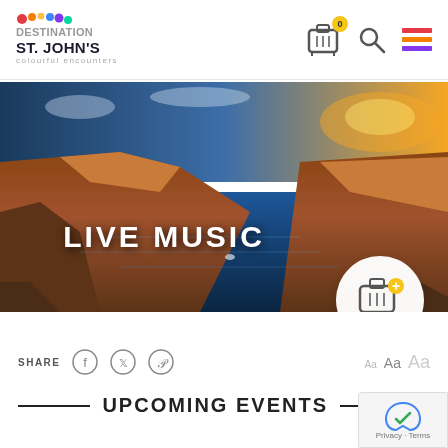[Figure (logo): Destination St. John's colourful encounters logo with coloured dots]
[Figure (illustration): Header navigation icons: luggage/bag with 0 badge, magnifying glass search icon, hamburger menu with coloured lines]
[Figure (photo): Aerial panoramic photo of St. John's Newfoundland coastline with rocky cliffs, ocean water, and city in background at sunset]
LIVE MUSIC
[Figure (illustration): Pack Your Bags circular badge with luggage icon and plus sign]
SHARE (social icons: Facebook, Twitter, Pinterest)
Aa Aa Aa (font size controls)
UPCOMING EVENTS
[Figure (illustration): Google reCAPTCHA privacy badge with Privacy · Terms]